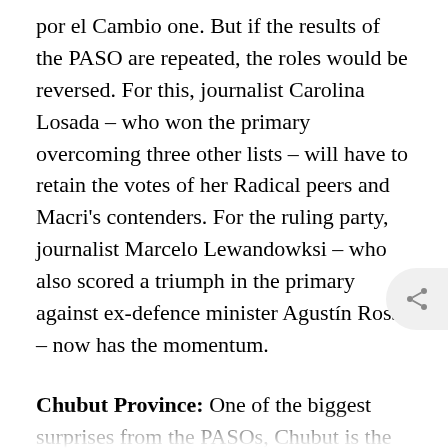por el Cambio one. But if the results of the PASO are repeated, the roles would be reversed. For this, journalist Carolina Losada – who won the primary overcoming three other lists – will have to retain the votes of her Radical peers and Macri's contenders. For the ruling party, journalist Marcelo Lewandowksi – who also scored a triumph in the primary against ex-defence minister Agustín Rossi – now has the momentum.
Chubut Province: One of the biggest surprises from the PASOs, Chubut is the province that will have the greatest impact on the future composition of the Senate. Frente de Todos has three senators